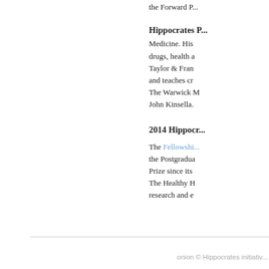the Forward P...
Hippocrates P...
Medicine. His... drugs, health a... Taylor & Fran... and teaches cr... The Warwick M... John Kinsella.
2014 Hippocr...
The Fellowship... the Postgradua... Prize since its... The Healthy H... research and e...
onion © Hippocrates initiativ...